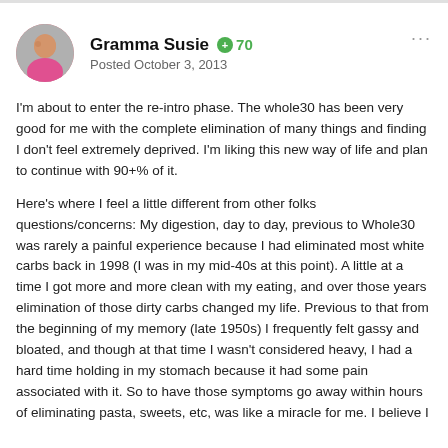[Figure (photo): Circular profile avatar photo of Gramma Susie, a person in a pink top]
Gramma Susie +70 Posted October 3, 2013
I'm about to enter the re-intro phase. The whole30 has been very good for me with the complete elimination of many things and finding I don't feel extremely deprived. I'm liking this new way of life and plan to continue with 90+% of it.
Here's where I feel a little different from other folks questions/concerns: My digestion, day to day, previous to Whole30 was rarely a painful experience because I had eliminated most white carbs back in 1998 (I was in my mid-40s at this point). A little at a time I got more and more clean with my eating, and over those years elimination of those dirty carbs changed my life. Previous to that from the beginning of my memory (late 1950s) I frequently felt gassy and bloated, and though at that time I wasn't considered heavy, I had a hard time holding in my stomach because it had some pain associated with it. So to have those symptoms go away within hours of eliminating pasta, sweets, etc, was like a miracle for me. I believe I